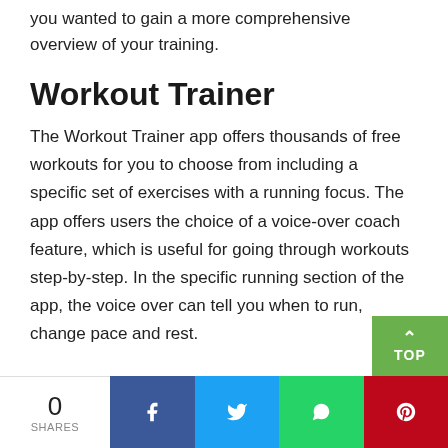you wanted to gain a more comprehensive overview of your training.
Workout Trainer
The Workout Trainer app offers thousands of free workouts for you to choose from including a specific set of exercises with a running focus. The app offers users the choice of a voice-over coach feature, which is useful for going through workouts step-by-step. In the specific running section of the app, the voice over can tell you when to run, change pace and rest.
0 SHARES | Facebook | Twitter | WhatsApp | Pinterest